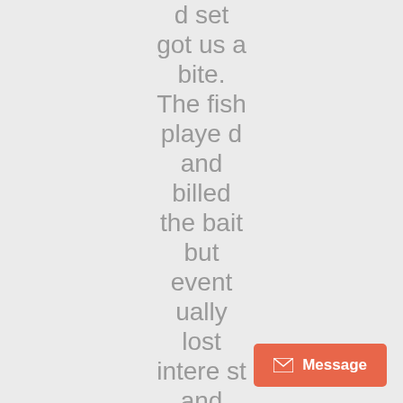d set got us a bite. The fish played and billed the bait but eventually lost interest and never ate. We checked the bait and
[Figure (other): Orange/salmon colored button with envelope icon and 'Message' text label, positioned in bottom-right corner]